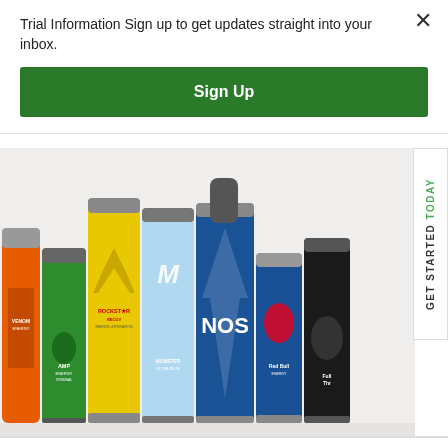Trial Information Sign up to get updates straight into your inbox.
Sign Up
[Figure (photo): Photo showing a lineup of various energy drink brands including Venom Energy, AMP Energy Original, Rockstar Recovery, Monster Ultra Blue, NOS, Red Bull Energy, and Full Throttle, arranged side by side against a white background.]
GET STARTED TODAY